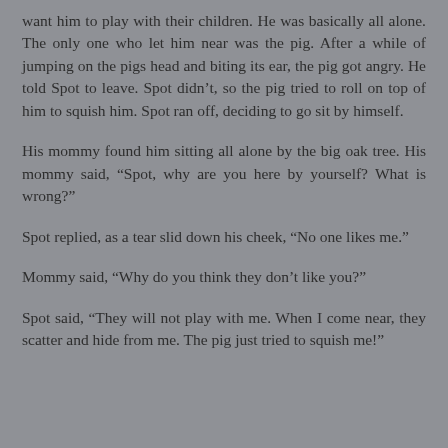want him to play with their children. He was basically all alone. The only one who let him near was the pig. After a while of jumping on the pigs head and biting its ear, the pig got angry. He told Spot to leave. Spot didn't, so the pig tried to roll on top of him to squish him. Spot ran off, deciding to go sit by himself.
His mommy found him sitting all alone by the big oak tree. His mommy said, “Spot, why are you here by yourself? What is wrong?”
Spot replied, as a tear slid down his cheek, “No one likes me.”
Mommy said, “Why do you think they don’t like you?”
Spot said, “They will not play with me. When I come near, they scatter and hide from me. The pig just tried to squish me!”